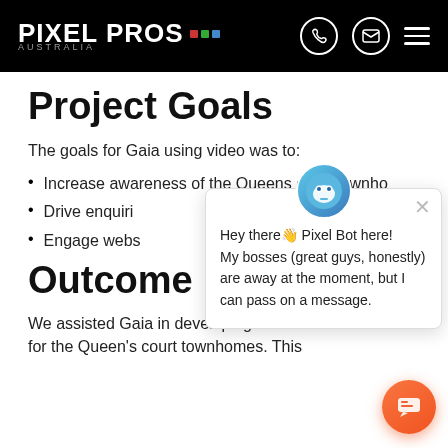PIXEL PROS AUSTRALIA
Project Goals
The goals for Gaia using video was to:
Increase awareness of the Queens court townho…
Drive enquiri…
Engage webs…
[Figure (screenshot): Chat bot popup from Pixel Bot with message: 'Hey there! Pixel Bot here! My bosses (great guys, honestly) are away at the moment, but I can pass on a message.']
Outcome
We assisted Gaia in developing the sc… for the Queen's court townhomes. This…